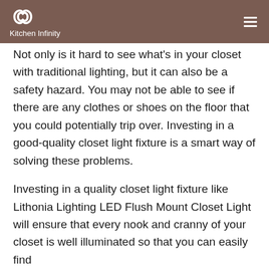Kitchen Infinity
Not only is it hard to see what's in your closet with traditional lighting, but it can also be a safety hazard. You may not be able to see if there are any clothes or shoes on the floor that you could potentially trip over. Investing in a good-quality closet light fixture is a smart way of solving these problems.
Investing in a quality closet light fixture like Lithonia Lighting LED Flush Mount Closet Light will ensure that every nook and cranny of your closet is well illuminated so that you can easily find